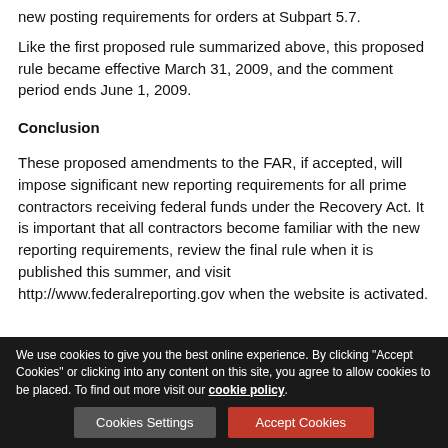new posting requirements for orders at Subpart 5.7.
Like the first proposed rule summarized above, this proposed rule became effective March 31, 2009, and the comment period ends June 1, 2009.
Conclusion
These proposed amendments to the FAR, if accepted, will impose significant new reporting requirements for all prime contractors receiving federal funds under the Recovery Act. It is important that all contractors become familiar with the new reporting requirements, review the final rule when it is published this summer, and visit http://www.federalreporting.gov when the website is activated.
Reed Smith LLP - Brett D. Gerson and Lorraine Mullings Campos
We use cookies to give you the best online experience. By clicking "Accept Cookies" or clicking into any content on this site, you agree to allow cookies to be placed. To find out more visit our cookie policy.